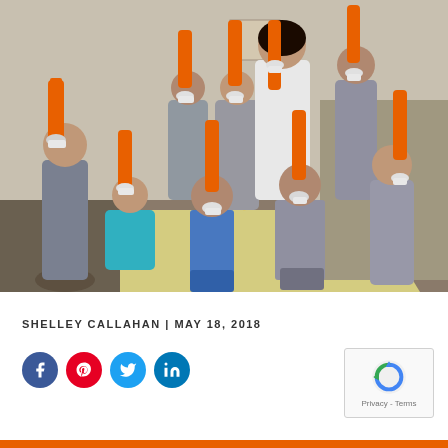[Figure (photo): Group photo of children in a classroom holding orange rocket-shaped plastic bottle crafts. A teacher stands in the background. Children are wearing white gloves and grey school uniforms. The setting appears to be an elementary school classroom with playground equipment visible in the background.]
SHELLEY CALLAHAN | MAY 18, 2018
[Figure (other): Social media share icons: Facebook (blue circle with f), Pinterest (red circle with P), Twitter (light blue circle with bird), LinkedIn (blue circle with in)]
[Figure (other): reCAPTCHA widget box with Google reCAPTCHA logo and Privacy - Terms text]